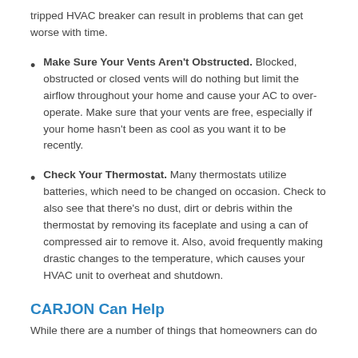tripped HVAC breaker can result in problems that can get worse with time.
Make Sure Your Vents Aren't Obstructed. Blocked, obstructed or closed vents will do nothing but limit the airflow throughout your home and cause your AC to over-operate. Make sure that your vents are free, especially if your home hasn't been as cool as you want it to be recently.
Check Your Thermostat. Many thermostats utilize batteries, which need to be changed on occasion. Check to also see that there's no dust, dirt or debris within the thermostat by removing its faceplate and using a can of compressed air to remove it. Also, avoid frequently making drastic changes to the temperature, which causes your HVAC unit to overheat and shutdown.
CARJON Can Help
While there are a number of things that homeowners can do